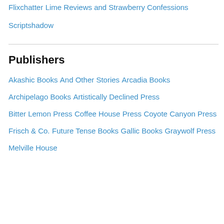Flixchatter
Lime Reviews and Strawberry Confessions
Scriptshadow
Publishers
Akashic Books
And Other Stories
Arcadia Books
Archipelago Books
Artistically Declined Press
Bitter Lemon Press
Coffee House Press
Coyote Canyon Press
Frisch & Co.
Future Tense Books
Gallic Books
Graywolf Press
Melville House